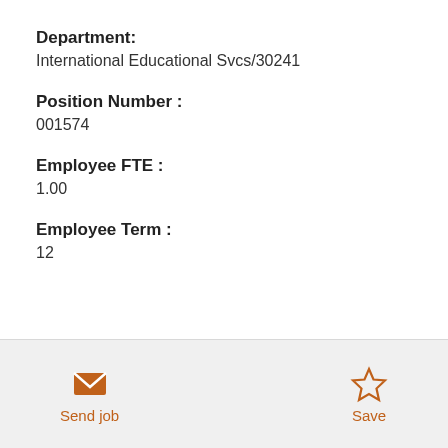Department:
International Educational Svcs/30241
Position Number :
001574
Employee FTE :
1.00
Employee Term :
12
Send job
Save